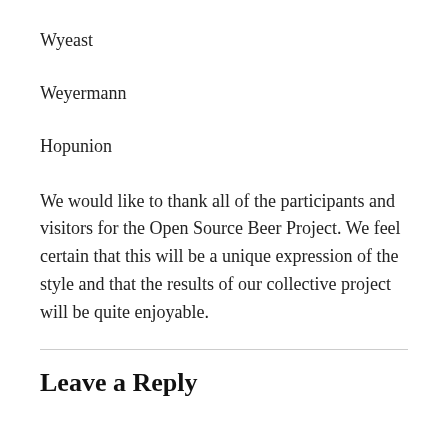Wyeast
Weyermann
Hopunion
We would like to thank all of the participants and visitors for the Open Source Beer Project. We feel certain that this will be a unique expression of the style and that the results of our collective project will be quite enjoyable.
Leave a Reply